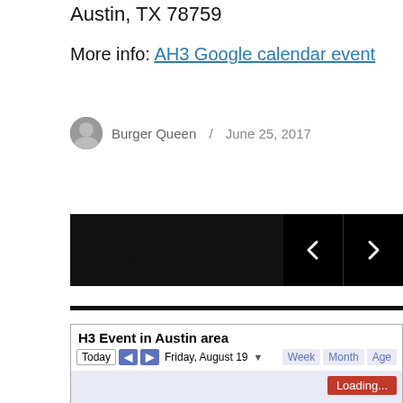Austin, TX 78759
More info: AH3 Google calendar event
Burger Queen / June 25, 2017
[Figure (screenshot): Navigation bar showing number 32 with left and right arrow buttons on black background]
[Figure (screenshot): Google Calendar widget showing 'H3 Event in Austin area' with controls: Today, nav arrows, Friday August 19 date, Week/Month/Age view buttons, and a Loading... red button. Calendar body is light blue/lavender.]